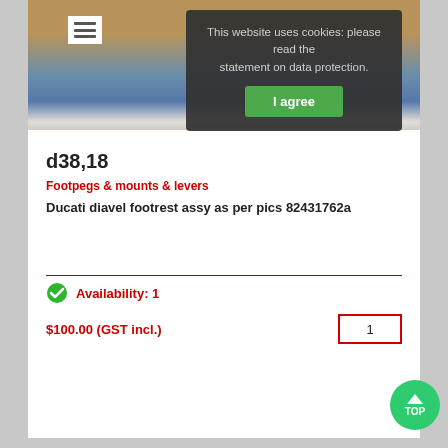[Figure (screenshot): Website cookie consent overlay on a product page. Shows a dark semi-transparent dialog with text 'This website uses cookies: please read the statement on data protection.' and a green 'I agree' button. Background shows a product image of footrest parts. A hamburger menu icon is visible top-left.]
This website uses cookies: please read the statement on data protection.
I agree
d38,18
Footpegs & mounts & levers
Ducati diavel footrest assy as per pics 82431762a
Availability: 1
$100.00 (GST incl.)
1